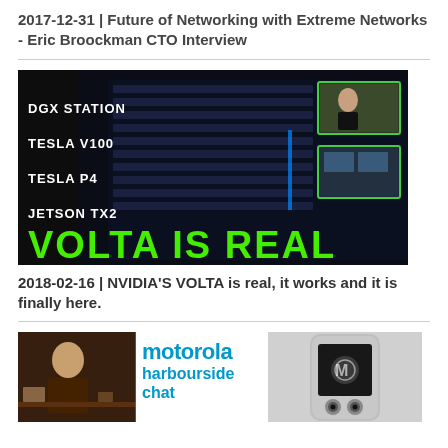2017-12-31 | Future of Networking with Extreme Networks - Eric Broockman CTO Interview
[Figure (photo): Thumbnail image for NVIDIA Volta video with text: DGX STATION, TESLA V100, TESLA P4, JETSON TX2, VOLTA IS REAL in green letters on dark background with server hardware imagery]
2018-02-16 | NVIDIA'S VOLTA is real, it works and it is finally here.
[Figure (photo): Thumbnail for Motorola Harbourside Chat video showing a person on the left, Motorola harbourside chat text in blue in the center, and a Motorola smartphone on the right]